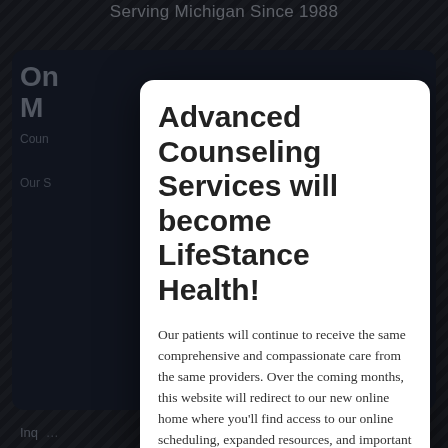Serving Michigan Since 1988
Advanced Counseling Services will become LifeStance Health!
Our patients will continue to receive the same comprehensive and compassionate care from the same providers. Over the coming months, this website will redirect to our new online home where you'll find access to our online scheduling, expanded resources, and important information. Please click here to learn more about this exciting new chapter for Advanced Counseling Services...